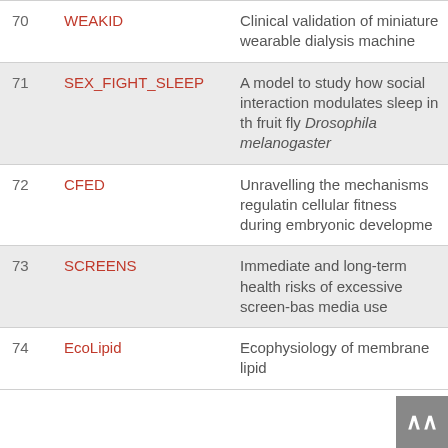| # | Name | Description |
| --- | --- | --- |
| 70 | WEAKID | Clinical validation of miniature wearable dialysis machine |
| 71 | SEX_FIGHT_SLEEP | A model to study how social interaction modulates sleep in the fruit fly Drosophila melanogaster |
| 72 | CFED | Unravelling the mechanisms regulating cellular fitness during embryonic development |
| 73 | SCREENS | Immediate and long-term health risks of excessive screen-based media use |
| 74 | EcoLipid | Ecophysiology of membrane lipid... |